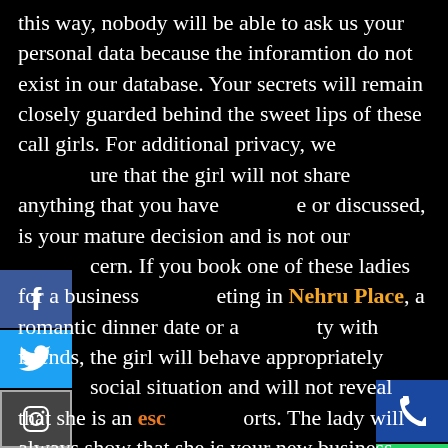this way, nobody will be able to ask us your personal data because the inforamtion do not exist in our database. Your secrets will remain closely guarded behind the sweet lips of these call girls. For additional privacy, we sure that the girl will not share anything that you have e or discussed, is your mature decision and is not our cern. If you book one of these ladies for a business eting in Nehru Place, a romantic dinner date or a ty with friends, the girl will behave appropriately social situation and will not reveal that she is an escort. The lady will always show that she is your new business assistant or your girlfriend. Also, all these female companions will arrive at your place in the strictest confidence, without atract public attention. All the girls were personally checked to ensure that they can